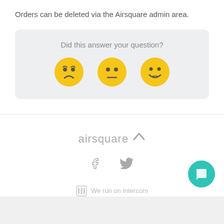Orders can be deleted via the Airsquare admin area.
[Figure (infographic): Feedback widget with question 'Did this answer your question?' and three emoji faces: disappointed, neutral, and happy]
[Figure (logo): Airsquare logo with chevron icon]
[Figure (infographic): Facebook and Twitter social media icons]
We run on Intercom